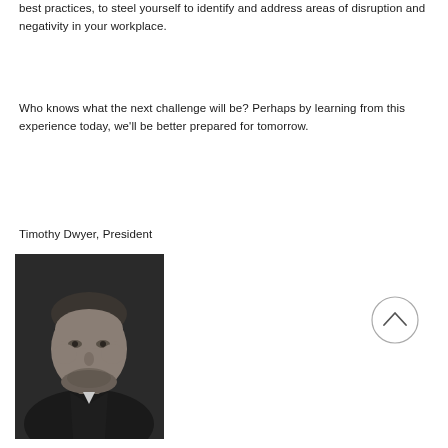best practices, to steel yourself to identify and address areas of disruption and negativity in your workplace.
Who knows what the next challenge will be? Perhaps by learning from this experience today, we’ll be better prepared for tomorrow.
Timothy Dwyer, President
[Figure (photo): Black and white headshot portrait of Timothy Dwyer, a middle-aged man with short hair and a beard, wearing a dark jacket, against a dark background.]